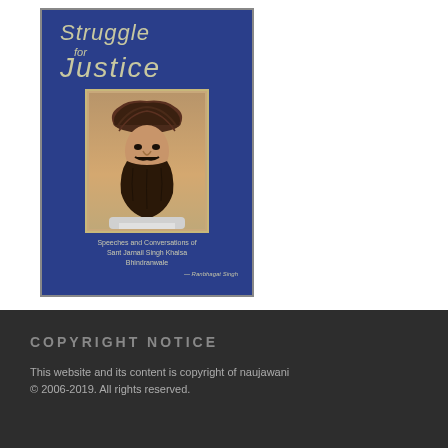[Figure (photo): Photo of a book titled 'Struggle for Justice — Speeches and Conversations of Sant Jarnail Singh Khalsa Bhindranwale', showing a blue hardcover book with a portrait of a man wearing a turban on the cover.]
COPYRIGHT NOTICE
This website and its content is copyright of naujawani © 2006-2019. All rights reserved.